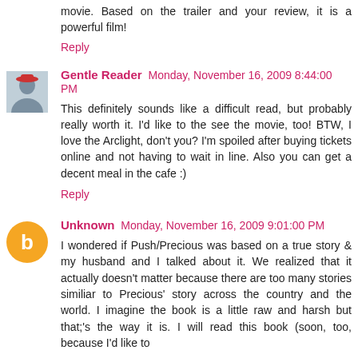movie. Based on the trailer and your review, it is a powerful film!
Reply
Gentle Reader  Monday, November 16, 2009 8:44:00 PM
This definitely sounds like a difficult read, but probably really worth it. I'd like to the see the movie, too! BTW, I love the Arclight, don't you? I'm spoiled after buying tickets online and not having to wait in line. Also you can get a decent meal in the cafe :)
Reply
Unknown  Monday, November 16, 2009 9:01:00 PM
I wondered if Push/Precious was based on a true story & my husband and I talked about it. We realized that it actually doesn't matter because there are too many stories similiar to Precious' story across the country and the world. I imagine the book is a little raw and harsh but that;'s the way it is. I will read this book (soon, too, because I'd like to